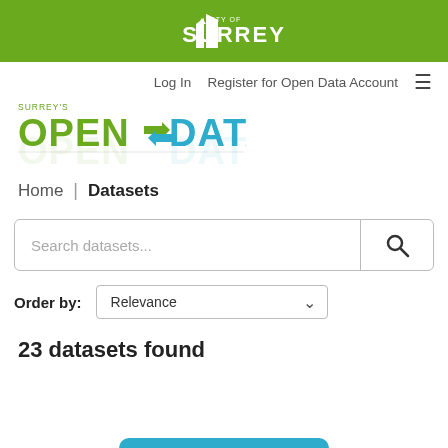[Figure (logo): City of Surrey green header banner with white Surrey logo]
Log In   Register for Open Data Account   ≡
[Figure (logo): Surrey's Open Data logo in green and teal with reflection]
Home  |  Datasets
Search datasets...
Order by:  Relevance
23 datasets found